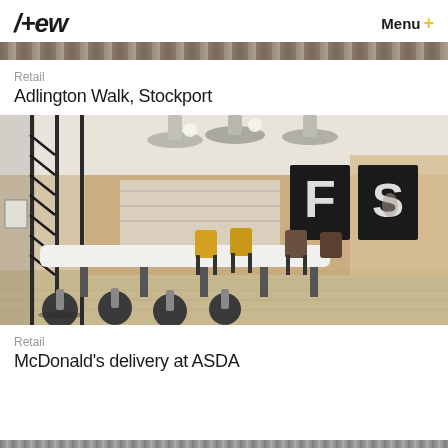AEW | Menu +
Retail
Adlington Walk, Stockport
[Figure (photo): Interior photo of a modern retail/food court space with a long white communal table, black metal stools with round seats, yellow and brown chairs in the background, pendant lights, wooden shelving and decor, and large black-and-white letter art (F, S) on the wall panels.]
Retail
McDonald's delivery at ASDA